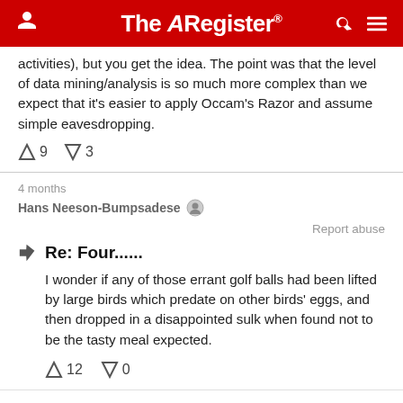The Register
activities), but you get the idea. The point was that the level of data mining/analysis is so much more complex than we expect that it's easier to apply Occam's Razor and assume simple eavesdropping.
↑9  ↓3
4 months
Hans Neeson-Bumpsadese
Report abuse
Re: Four......
I wonder if any of those errant golf balls had been lifted by large birds which predate on other birds' eggs, and then dropped in a disappointed sulk when found not to be the tasty meal expected.
↑12  ↓0
Stob Has Anyone Told you...